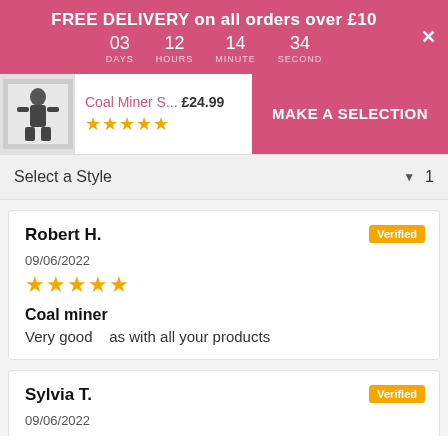FREE DELIVERY on all orders over £10 | 03 DAYS 12 HOURS 14 MINUTE 34 SECOND
Coal Miner S... £24.99 ★★★★★
MAKE A SELECTION
Select a Style ▼ 1
Robert H.
Verified
09/06/2022
★★★★★
Coal miner
Very good    as with all your products
Sylvia T.
Verified
09/06/2022